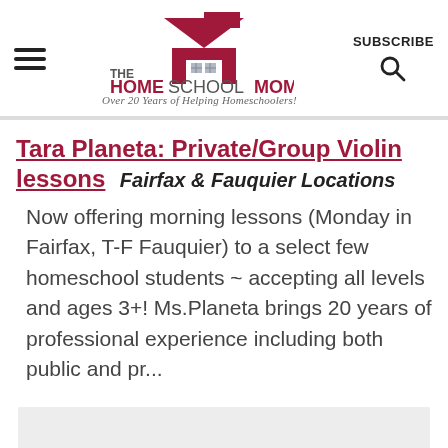THE HOME SCHOOL MOM — Over 20 Years of Helping Homeschoolers! | SUBSCRIBE
Tara Planeta: Private/Group Violin lessons
Fairfax & Fauquier Locations
Now offering morning lessons (Monday in Fairfax, T-F Fauquier) to a select few homeschool students ~ accepting all levels and ages 3+! Ms.Planeta brings 20 years of professional experience including both public and pr...